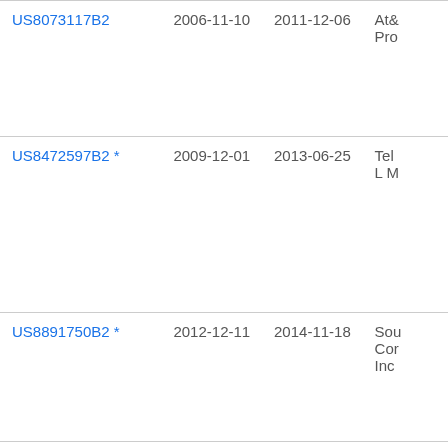| Patent Number | Filing Date | Publication Date | Assignee |
| --- | --- | --- | --- |
| US8073117B2 | 2006-11-10 | 2011-12-06 | At& Pro... |
| US8472597B2 * | 2009-12-01 | 2013-06-25 | Tel L M... |
| US8891750B2 * | 2012-12-11 | 2014-11-18 | Sou Con Inc... |
| US9621735B2 | 2014-06-25 | 2017-04-11 | Tex... |
| US10750028B2 | 2017-06-29 | 2020-08-18 | Tex... |